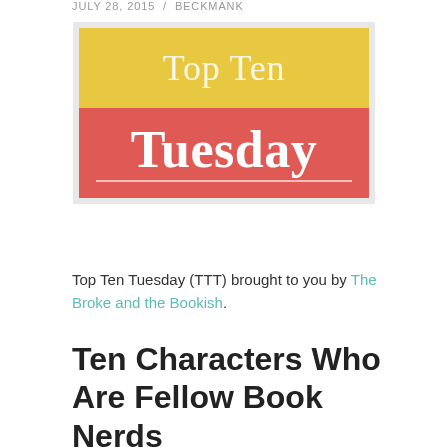JULY 28, 2015 / BECKMANK
[Figure (logo): Top Ten Tuesday logo — top half gold/yellow with 'Top Ten' in light serif text, bottom half coral/red with 'Tuesday' in large white bold serif text, with a thin white horizontal line below.]
Top Ten Tuesday (TTT) brought to you by The Broke and the Bookish.
Ten Characters Who Are Fellow Book Nerds